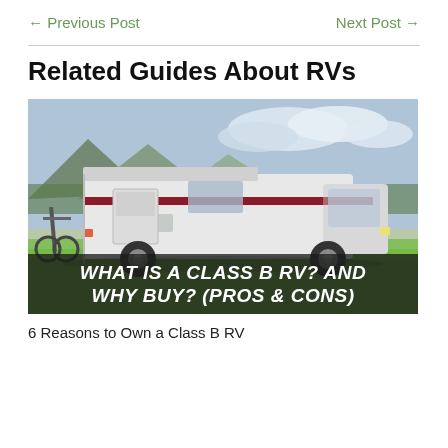← Previous Post    Next Post →
Related Guides About RVs
[Figure (photo): A white Class B RV/motorhome parked on green grass with trees and mountains in the background. Bicycles are mounted on a rack at the rear. Overlay text reads: WHAT IS A CLASS B RV? AND WHY BUY? (PROS & CONS)]
6 Reasons to Own a Class B RV